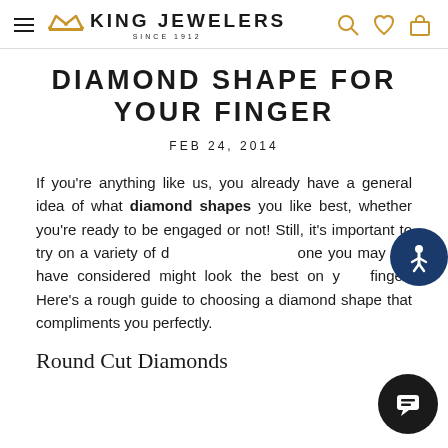King Jewelers Since 1912
DIAMOND SHAPE FOR YOUR FINGER
FEB 24, 2014
If you're anything like us, you already have a general idea of what diamond shapes you like best, whether you're ready to be engaged or not! Still, it's important to try on a variety of diamonds, because one you may not have considered might look the best on your finger! Here's a rough guide to choosing a diamond shape that compliments you perfectly.
Round Cut Diamonds